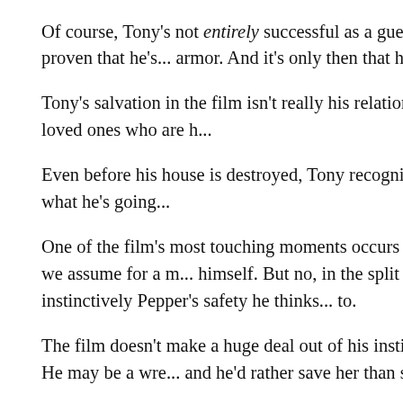Of course, Tony's not entirely successful as a guerrilla fighter... the Iron Man suit to him to escape. But he's proven that he's... armor. And it's only then that he's able to become Iron Man a...
Tony's salvation in the film isn't really his relationship with the... Like many suffering from PTSD, it's his loved ones who are h...
Even before his house is destroyed, Tony recognizes how m... has the courage to open up to her a bit about what he's going...
One of the film's most touching moments occurs when Tony's... summons his current Iron Man armor, and we assume for a m... himself. But no, in the split second after the explosion but be... crashing into walls, it's instinctively Pepper's safety he thinks... to.
The film doesn't make a huge deal out of his instinctive decis... done. And it tells us everything about Tony. He may be a wre... and he'd rather save her than save himself.
In this moment, we know that he's a hero. For all his bluster,... all his thoughtlessness. It's Tony who's the hero. Even if he s...